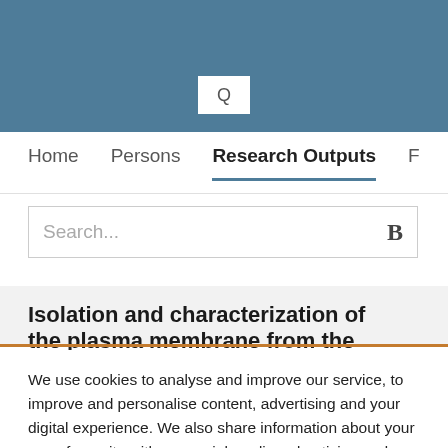[Figure (screenshot): Website header with steel-blue background and a white search icon box with magnifying glass symbol]
Home   Persons   Research Outputs   F
Search...
Isolation and characterization of the plasma membrane from the
We use cookies to analyse and improve our service, to improve and personalise content, advertising and your digital experience. We also share information about your use of our site with our social media, advertising and analytics partners.  Cookie Policy